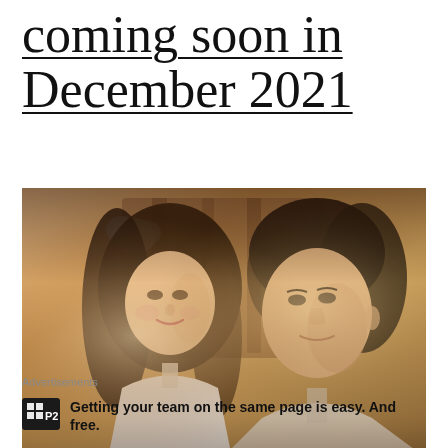coming soon in December 2021
[Figure (photo): Two people facing each other closely — a young woman with long dark hair and a white flower accessory on the left, and a young man on the right, in warm soft lighting, romantic drama promotional still]
Advertisements
[Figure (logo): P2 logo — dark square with letter H grid and P2 text]
Getting your team on the same page is easy. And free.